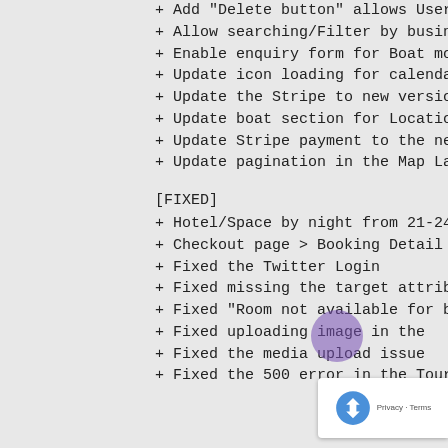+ Add "Delete button" allows User ca
+ Allow searching/Filter by business
+ Enable enquiry form for Boat modul
+ Update icon loading for calendar
+ Update the Stripe to new version
+ Update boat section for Location
+ Update Stripe payment to the new v
+ Update pagination in the Map Layou
[FIXED]
+ Hotel/Space by night from 21-24, b
+ Checkout page > Booking Detail has
+ Fixed the Twitter Login
+ Fixed missing the target attribute
+ Fixed "Room not available for book
+ Fixed uploading image in the
+ Fixed the media upload issue
+ Fixed the 500 error in the Tour At